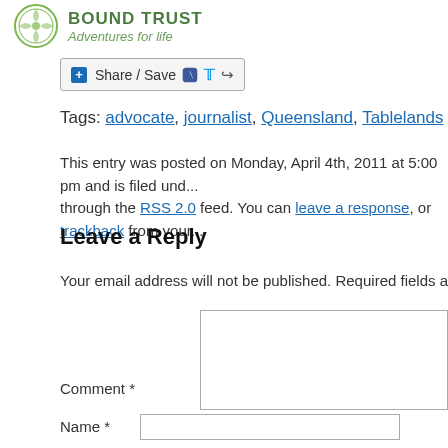[Figure (logo): Circular green logo with BOUND TRUST text and Adventures for life tagline]
Share / Save
Tags: advocate, journalist, Queensland, Tablelands
This entry was posted on Monday, April 4th, 2011 at 5:00 pm and is filed und... through the RSS 2.0 feed. You can leave a response, or trackback from your...
Leave a Reply
Your email address will not be published. Required fields are ma...
Comment *
Name *